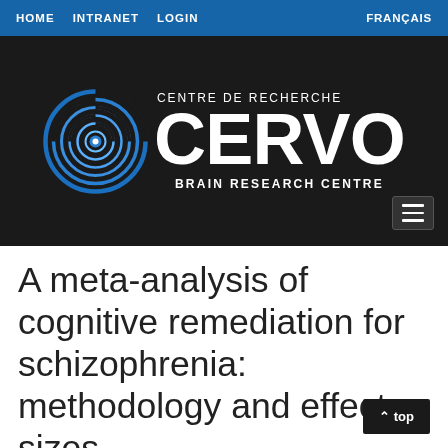HOME  INTRANET  LOGIN  FRANÇAIS
[Figure (logo): CERVO Brain Research Centre logo: circular maze-like icon in blue, with text 'CENTRE DE RECHERCHE CERVO BRAIN RESEARCH CENTRE' in white on dark background]
A meta-analysis of cognitive remediation for schizophrenia: methodology and effect sizes.